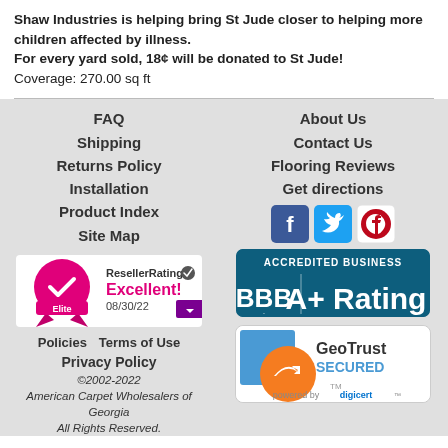Shaw Industries is helping bring St Jude closer to helping more children affected by illness.
For every yard sold, 18¢ will be donated to St Jude!
Coverage: 270.00 sq ft
FAQ
Shipping
Returns Policy
Installation
Product Index
Site Map
About Us
Contact Us
Flooring Reviews
Get directions
[Figure (logo): ResellerRatings Elite badge - Excellent! 08/30/22]
[Figure (logo): Social media icons: Facebook, Twitter, Pinterest]
[Figure (logo): BBB Accredited Business A+ Rating badge]
Policies   Terms of Use
Privacy Policy
©2002-2022
American Carpet Wholesalers of Georgia
All Rights Reserved.
[Figure (logo): GeoTrust Secured powered by digicert badge]